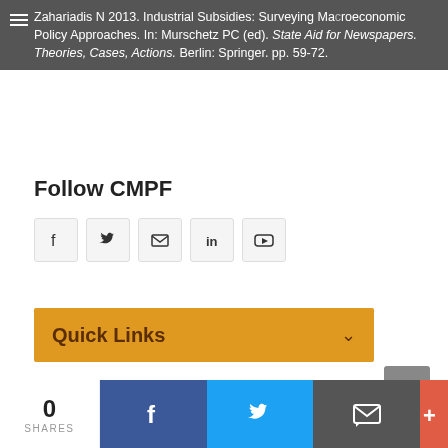Zahariadis N 2013. Industrial Subsidies: Surveying Macroeconomic Policy Approaches. In: Murschetz PC (ed). State Aid for Newspapers. Theories, Cases, Actions. Berlin: Springer. pp. 59-72.
Follow CMPF
[Figure (infographic): Five social media icon buttons: Facebook (f), Twitter (bird), Email (envelope), LinkedIn (in), YouTube (play button)]
Quick Links
Mapping Media Policy and
[Figure (infographic): Bottom share bar with share count 0 SHARES, Facebook share button, Twitter share button, email share button, and more (+) button]